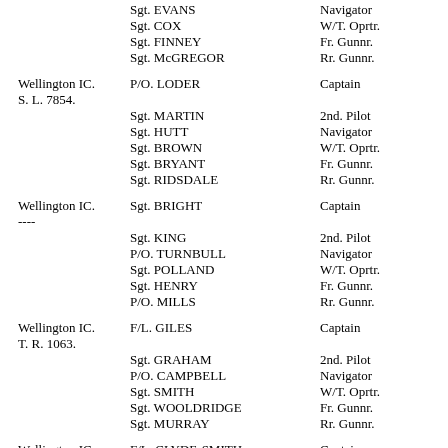Sgt. EVANS — Navigator (partial/truncated at top)
Sgt. COX — W/T. Oprtr.
Sgt. FINNEY — Fr. Gunnr.
Sgt. McGREGOR — Rr. Gunnr.
Wellington IC. S. L. 7854. — P/O. LODER — Captain
Sgt. MARTIN — 2nd. Pilot
Sgt. HUTT — Navigator
Sgt. BROWN — W/T. Oprtr.
Sgt. BRYANT — Fr. Gunnr.
Sgt. RIDSDALE — Rr. Gunnr.
Wellington IC. ---- — Sgt. BRIGHT — Captain
Sgt. KING — 2nd. Pilot
P/O. TURNBULL — Navigator
Sgt. POLLAND — W/T. Oprtr.
Sgt. HENRY — Fr. Gunnr.
P/O. MILLS — Rr. Gunnr.
Wellington IC. T. R. 1063. — F/L. GILES — Captain
Sgt. GRAHAM — 2nd. Pilot
P/O. CAMPBELL — Navigator
Sgt. SMITH — W/T. Oprtr.
Sgt. WOOLDRIDGE — Fr. Gunnr.
Sgt. MURRAY — Rr. Gunnr.
Wellington IC. — F/L. CLYDE-SMITH — Captain